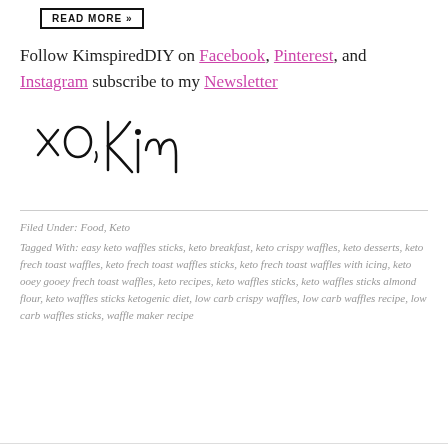READ MORE »
Follow KimspiredDIY on Facebook, Pinterest, and Instagram subscribe to my Newsletter
[Figure (illustration): Handwritten cursive signature reading 'xo, Kim']
Filed Under: Food, Keto
Tagged With: easy keto waffles sticks, keto breakfast, keto crispy waffles, keto desserts, keto frech toast waffles, keto frech toast waffles sticks, keto frech toast waffles with icing, keto ooey gooey frech toast waffles, keto recipes, keto waffles sticks, keto waffles sticks almond flour, keto waffles sticks ketogenic diet, low carb crispy waffles, low carb waffles recipe, low carb waffles sticks, waffle maker recipe